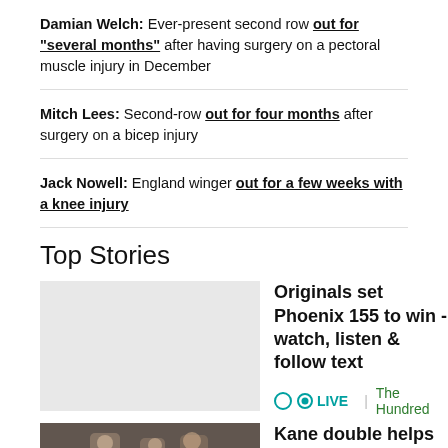Damian Welch: Ever-present second row out for "several months" after having surgery on a pectoral muscle injury in December
Mitch Lees: Second-row out for four months after surgery on a bicep injury
Jack Nowell: England winger out for a few weeks with a knee injury
Top Stories
Originals set Phoenix 155 to win - watch, listen & follow text
LIVE | The Hundred
Kane double helps Spurs hold off gritty Forest